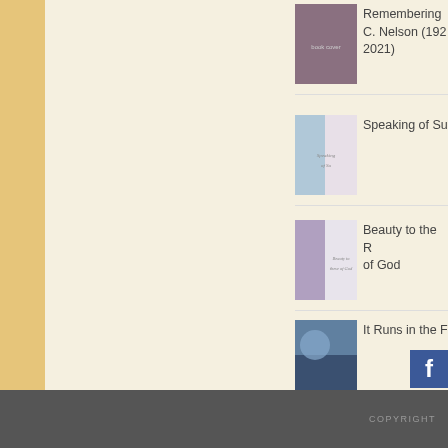Remembering C. Nelson (1922021)
Speaking of Su
Beauty to the R of God
It Runs in the F
[Figure (screenshot): Facebook icon button, partially visible at bottom right]
COPYRIGHT